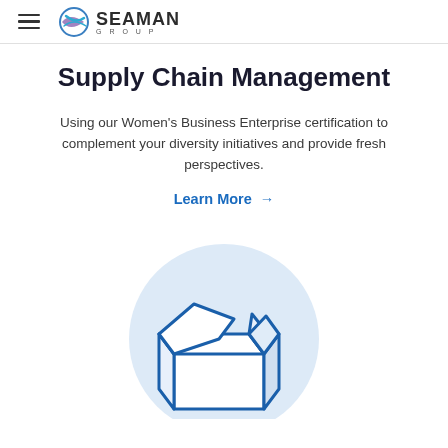Seaman Group
Supply Chain Management
Using our Women's Business Enterprise certification to complement your diversity initiatives and provide fresh perspectives.
Learn More →
[Figure (illustration): Open shipping box icon inside a light blue circle background]